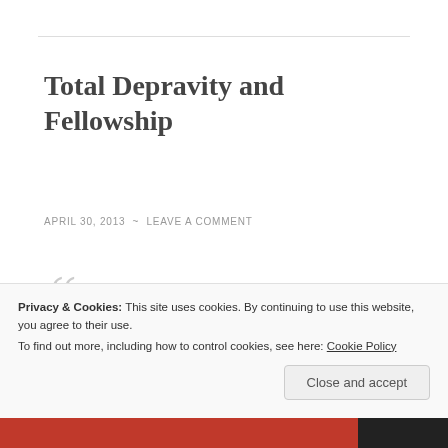Total Depravity and Fellowship
APRIL 30, 2013 ~ LEAVE A COMMENT
But he said to me, "My grace is sufficient for you, for my power is made perfect in weakness." Therefore I will boast all the more gladly of my weaknesses, so that the
Privacy & Cookies: This site uses cookies. By continuing to use this website, you agree to their use.
To find out more, including how to control cookies, see here: Cookie Policy
Close and accept